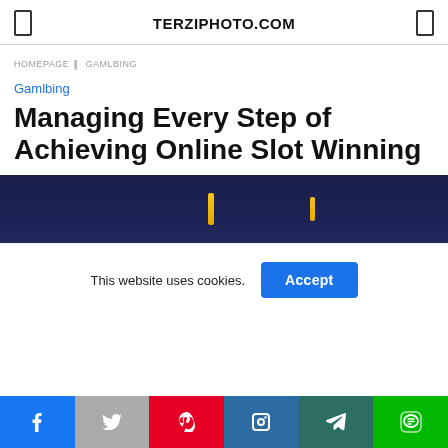TERZIPHOTO.COM
HOMEPAGE | GAMLBING
Gamlbing
Managing Every Step of Achieving Online Slot Winning
[Figure (photo): Dark blue background hero image with yellow vertical light streaks, resembling a casino or slot machine environment]
This website uses cookies.
Social sharing bar with icons for Facebook, Twitter, Pinterest, LinkedIn, Telegram, and LINE